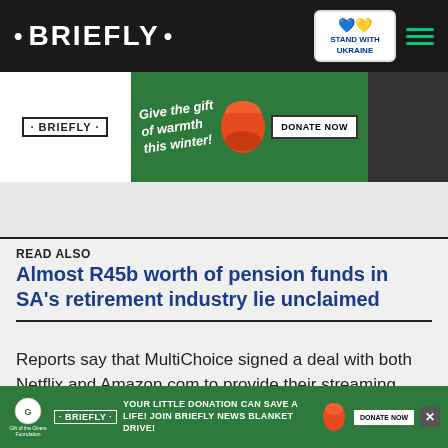• BRIEFLY •
[Figure (infographic): Advertisement banner: Briefly logo on white left panel, green center panel with 'Give the gift of warmth this winter!' text and orange sleeping bag illustration, DONATE NOW button, dark photo on right]
READ ALSO
Almost R45b worth of pension funds in SA's retirement industry lie unclaimed
Reports say that MultiChoice signed a deal with both Netflix and Amazon.com to provide their streaming services.
[Figure (infographic): Bottom advertisement: Gift of the Givers foundation icon, Briefly logo, green background with 'YOUR LITTLE DONATION CAN SAVE A LIFE! JOIN BRIEFLY NEWS BLANKET DRIVE!' text, orange sleeping bag icon, DONATE NOW button, X close button]